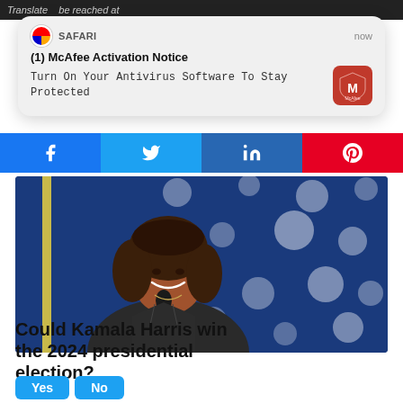Translate ... be reached at
[Figure (screenshot): Safari browser notification popup for McAfee Activation Notice saying 'Turn On Your Antivirus Software To Stay Protected' with McAfee red icon, timestamped 'now']
[Figure (photo): Kamala Harris smiling and holding a microphone, standing in front of a blue background with white stars (American flag)]
Could Kamala Harris win the 2024 presidential election?
Yes
No